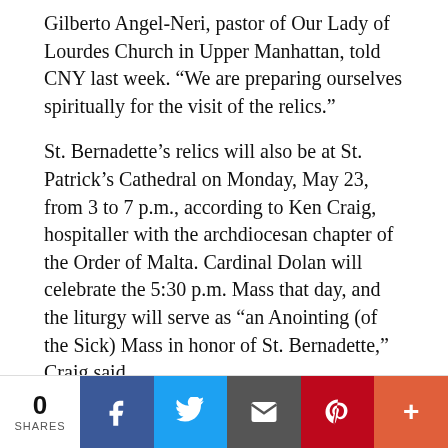Gilberto Angel-Neri, pastor of Our Lady of Lourdes Church in Upper Manhattan, told CNY last week. “We are preparing ourselves spiritually for the visit of the relics.”
St. Bernadette’s relics will also be at St. Patrick’s Cathedral on Monday, May 23, from 3 to 7 p.m., according to Ken Craig, hospitaller with the archdiocesan chapter of the Order of Malta. Cardinal Dolan will celebrate the 5:30 p.m. Mass that day, and the liturgy will serve as “an Anointing (of the Sick) Mass in honor of St. Bernadette,” Craig said.
“We’re very fortunate to have the relics at the parish of Our Lady of Lourdes and then also at the cathedral,” Craig told CNY this week, noting that because of ongoing pandemic restrictions, “we’re sort of bringing Lourdes to the people.”
0 SHARES | Facebook | Twitter | Email | Pinterest | More